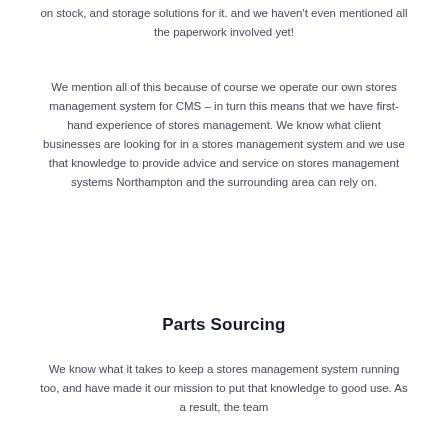on stock, and storage solutions for it. and we haven't even mentioned all the paperwork involved yet!
We mention all of this because of course we operate our own stores management system for CMS – in turn this means that we have first-hand experience of stores management. We know what client businesses are looking for in a stores management system and we use that knowledge to provide advice and service on stores management systems Northampton and the surrounding area can rely on.
Parts Sourcing
We know what it takes to keep a stores management system running too, and have made it our mission to put that knowledge to good use. As a result, the team